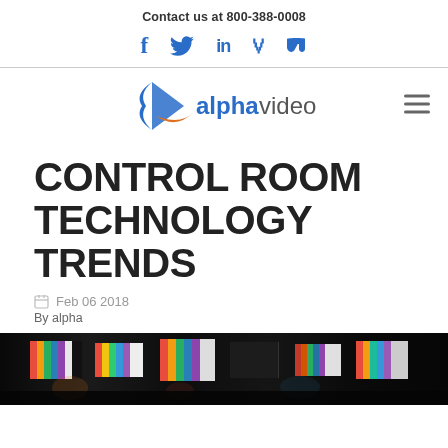Contact us at 800-388-0008
[Figure (logo): Social media icons: Facebook (f), Twitter (bird), LinkedIn (in), Vimeo (v) in blue]
[Figure (logo): Alpha Video logo with blue arrow/triangle and orange swoosh, text 'alpha' in blue bold and 'video' in gray]
CONTROL ROOM TECHNOLOGY TRENDS
Feb 06 2018
By alpha
[Figure (photo): Control room monitor panel showing multiple screens with color bars and video feeds, blurred bokeh-style photo]